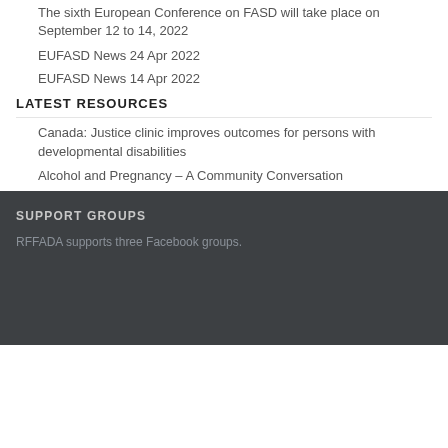The sixth European Conference on FASD will take place on September 12 to 14, 2022
EUFASD News 24 Apr 2022
EUFASD News 14 Apr 2022
LATEST RESOURCES
Canada: Justice clinic improves outcomes for persons with developmental disabilities
Alcohol and Pregnancy – A Community Conversation
SUPPORT GROUPS
RFFADA supports three Facebook groups.